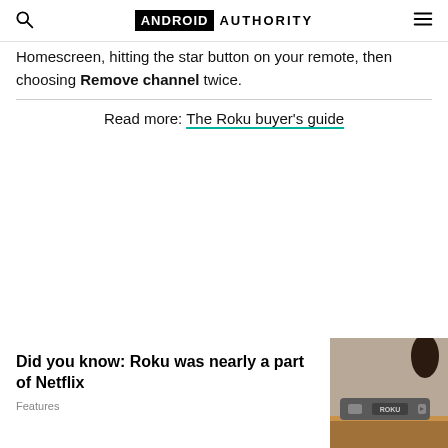ANDROID AUTHORITY
Homescreen, hitting the star button on your remote, then choosing Remove channel twice.
Read more: The Roku buyer's guide
[Figure (other): Advertisement placeholder area]
[Figure (photo): Photo of a Roku device on a wooden surface]
Did you know: Roku was nearly a part of Netflix
Features